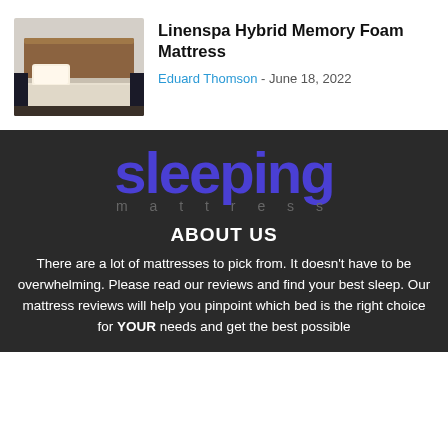[Figure (photo): Photo of a bedroom with a mattress on a bed frame with wooden headboard and dark nightstands]
Linenspa Hybrid Memory Foam Mattress
Eduard Thomson - June 18, 2022
[Figure (logo): Sleeping Mattresses logo in large purple text on dark background with 'mattresses' spelled out below in gray]
ABOUT US
There are a lot of mattresses to pick from. It doesn't have to be overwhelming. Please read our reviews and find your best sleep. Our mattress reviews will help you pinpoint which bed is the right choice for YOUR needs and get the best possible